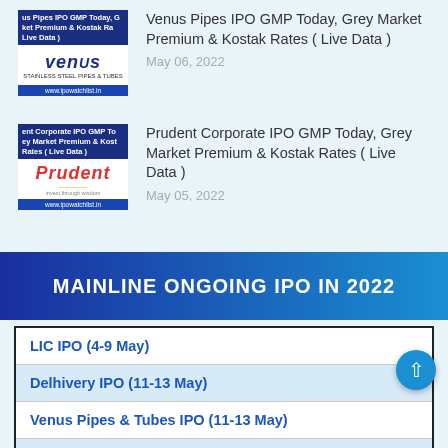[Figure (screenshot): Thumbnail image for Venus Pipes IPO GMP article with blue header bar, Venus logo, and website URL]
Venus Pipes IPO GMP Today, Grey Market Premium & Kostak Rates ( Live Data )
May 06, 2022
[Figure (screenshot): Thumbnail image for Prudent Corporate IPO GMP article with blue header bar, Prudent logo, and website URL]
Prudent Corporate IPO GMP Today, Grey Market Premium & Kostak Rates ( Live Data )
May 05, 2022
MAINLINE ONGOING IPO IN 2022
LIC IPO (4-9 May)
Delhivery IPO (11-13 May)
Venus Pipes & Tubes IPO (11-13 May)
Prudent Corporate Advisory Services IPO (10-12 May)